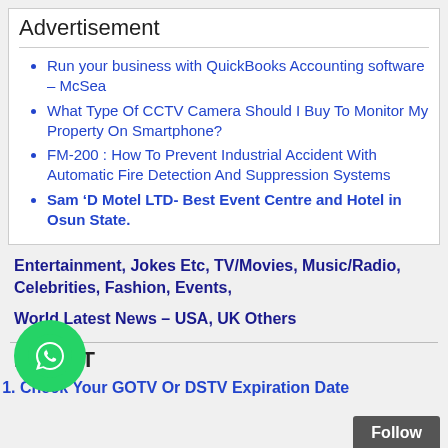Advertisement
Run your business with QuickBooks Accounting software – McSea
What Type Of CCTV Camera Should I Buy To Monitor My Property On Smartphone?
FM-200 : How To Prevent Industrial Accident With Automatic Fire Detection And Suppression Systems
Sam ‘D Motel LTD- Best Event Centre and Hotel in Osun State.
Entertainment, Jokes Etc, TV/Movies, Music/Radio, Celebrities, Fashion, Events,
World Latest News – USA, UK Others
LATEST
Check Your GOTV Or DSTV Expiration Date